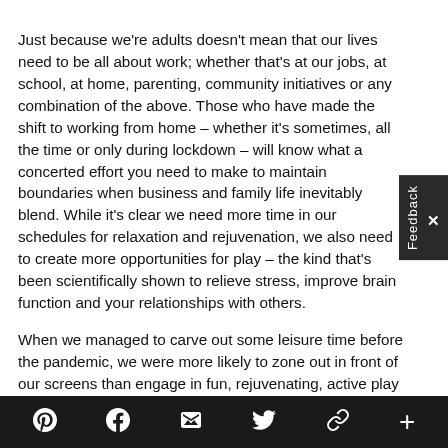Just because we're adults doesn't mean that our lives need to be all about work; whether that's at our jobs, at school, at home, parenting, community initiatives or any combination of the above. Those who have made the shift to working from home – whether it's sometimes, all the time or only during lockdown – will know what a concerted effort you need to make to maintain boundaries when business and family life inevitably blend. While it's clear we need more time in our schedules for relaxation and rejuvenation, we also need to create more opportunities for play – the kind that's been scientifically shown to relieve stress, improve brain function and your relationships with others.

When we managed to carve out some leisure time before the pandemic, we were more likely to zone out in front of our screens than engage in fun, rejuvenating, active play like we did as children. But after spending all